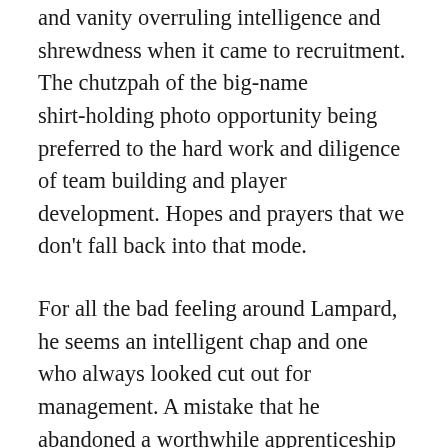and vanity overruling intelligence and shrewdness when it came to recruitment. The chutzpah of the big-name shirt-holding photo opportunity being preferred to the hard work and diligence of team building and player development. Hopes and prayers that we don't fall back into that mode.
For all the bad feeling around Lampard, he seems an intelligent chap and one who always looked cut out for management. A mistake that he abandoned a worthwhile apprenticeship at Derby for a taste of the big-time well before he was ready for it. He seems an odd choice to parachute in for a relegation battle, but perhaps he will be lucky that the three teams below him just don't have enough quality to